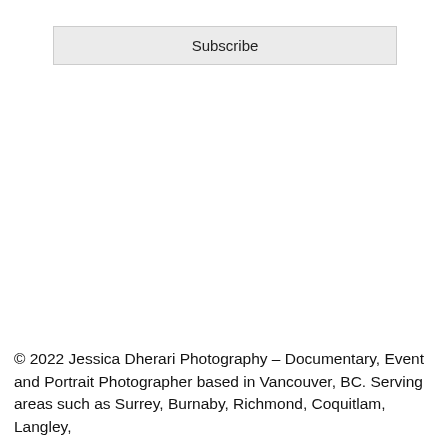Subscribe
© 2022 Jessica Dherari Photography – Documentary, Event and Portrait Photographer based in Vancouver, BC. Serving areas such as Surrey, Burnaby, Richmond, Coquitlam, Langley,